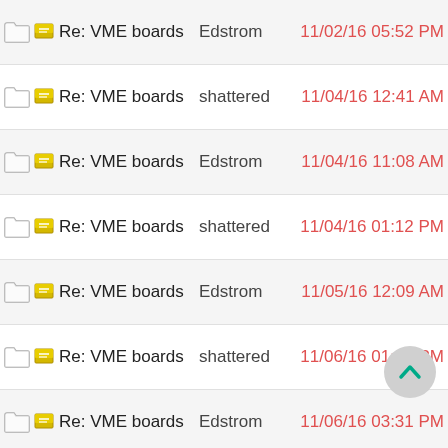Re: VME boards | Edstrom | 11/02/16 05:52 PM
Re: VME boards | shattered | 11/04/16 12:41 AM
Re: VME boards | Edstrom | 11/04/16 11:08 AM
Re: VME boards | shattered | 11/04/16 01:12 PM
Re: VME boards | Edstrom | 11/05/16 12:09 AM
Re: VME boards | shattered | 11/06/16 01:34 PM
Re: VME boards | Edstrom | 11/06/16 03:31 PM
Re: VME boards | shattered | 11/06/16 05:35 PM
Re: VME boards | Edstrom | 11/06/16 09:17 PM
Re: VME boards | shattered | 11/06/16 09:44 PM
Re: VME boards | shattered | 10/01/17 05:13 PM
Re: VME boards | Edstrom | 11/07/16 04:28 PM
Re: VME boards | shattered | 11/07/16 06:04 PM
Re: VME boards | Edstrom | 11/07/16 09:38 PM
Re: VME boards | shattered | 11/07/16 10:46 PM
Re: VME boards | AJR | 11/14/16 12:44 AM
Re: VME boards | R. Belmont | 11/14/16 02:10 AM